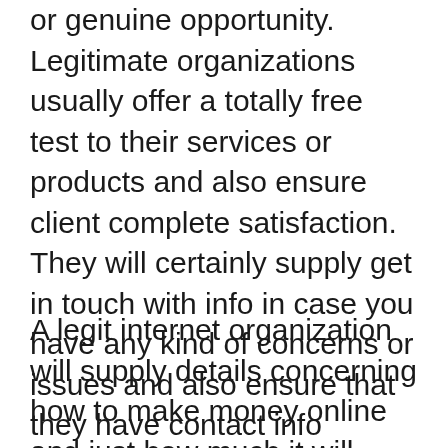or genuine opportunity. Legitimate organizations usually offer a totally free test to their services or products and also ensure client complete satisfaction. They will certainly supply get in touch with info in case you have any kind of concerns or issues and also ensure that they have contact info available for you to reach them at any moment.
A legit internet organization will supply details concerning how to make money online and just how much it will certainly take to get started. They will let you know upfront the amount of job included and show you some instances to reveal you how easy it is to earn money online. They will allow you know about frauds as well as allow you